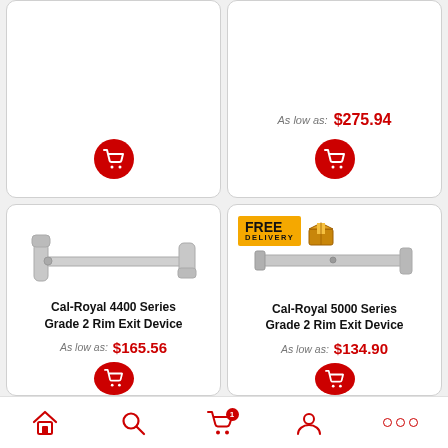[Figure (photo): Partial top row of product cards. Left card shows shopping cart button. Right card shows 'As low as: $275.94' price and shopping cart button.]
As low as: $275.94
[Figure (photo): Cal-Royal 4400 Series Grade 2 Rim Exit Device product image - silver horizontal bar with mounting brackets]
Cal-Royal 4400 Series Grade 2 Rim Exit Device
As low as: $165.56
[Figure (photo): Cal-Royal 5000 Series Grade 2 Rim Exit Device product image - silver panic bar hardware. Free Delivery badge shown.]
Cal-Royal 5000 Series Grade 2 Rim Exit Device
As low as: $134.90
Home | Search | Cart (1) | Account | More